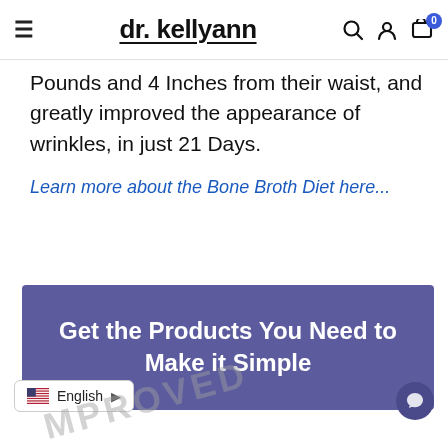dr. kellyann
Pounds and 4 Inches from their waist, and greatly improved the appearance of wrinkles, in just 21 Days.
Learn more about the Bone Broth Diet here...
[Figure (infographic): Purple banner reading 'Get the Products You Need to Make it Simple']
English